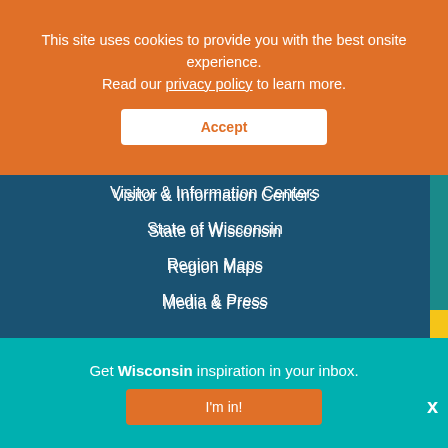This site uses cookies to provide you with the best onsite experience. Read our privacy policy to learn more.
Accept
Visitor & Information Centers
State of Wisconsin
Region Maps
Media & Press
[Figure (logo): VisitTheUSA.com dot-matrix logo]
Meet in Wisconsin
Sports Wisconsin
Circle Wisconsin
Industry Partners
Get Wisconsin inspiration in your inbox.
I'm in!